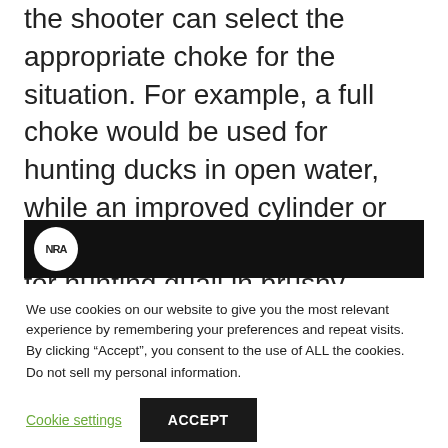interchangeably screw in chokes so that the shooter can select the appropriate choke for the situation. For example, a full choke would be used for hunting ducks in open water, while an improved cylinder or cylinder choke might be better for hunting quail in brushy cover.
[Figure (photo): Dark banner image with NRA logo (white circle with NRA text) on the left side against a black/dark grey background]
We use cookies on our website to give you the most relevant experience by remembering your preferences and repeat visits. By clicking “Accept”, you consent to the use of ALL the cookies.
Do not sell my personal information.
Cookie settings
ACCEPT